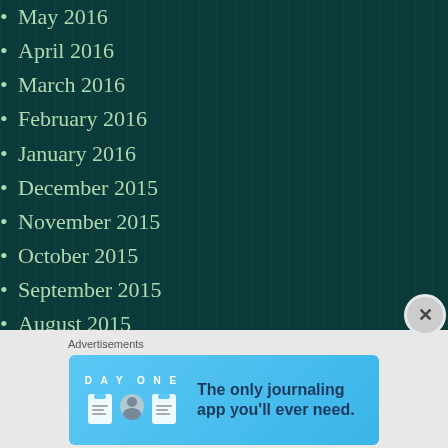May 2016
April 2016
March 2016
February 2016
January 2016
December 2015
November 2015
October 2015
September 2015
August 2015
July 2015
June 2015
May 2015
[Figure (screenshot): Day One journaling app advertisement banner with text 'The only journaling app you'll ever need.']